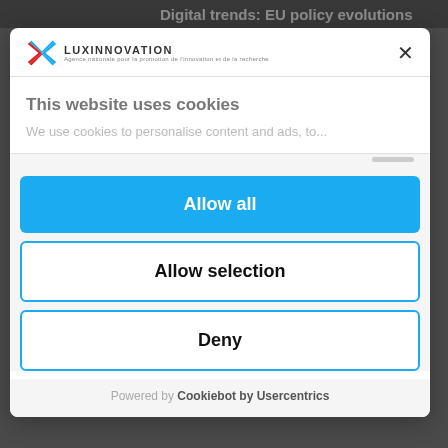[Figure (screenshot): Background web page showing 'Digital trends: EU policy evolutions' article header with a person's photo, partially visible behind a cookie consent modal overlay]
[Figure (screenshot): Cookie consent modal dialog with Luxinnovation logo, close button (X), title 'This website uses cookies', partial description text 'We use cookies to personalise content and ads, to...', and three buttons: 'Allow all' (blue filled), 'Allow selection' (outlined), 'Deny' (outlined), with footer 'Powered by Cookiebot by Usercentrics']